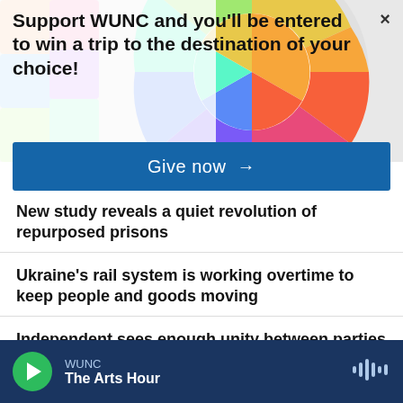[Figure (screenshot): Colorful circular mosaic/geometric background image behind the WUNC donation banner]
Support WUNC and you'll be entered to win a trip to the destination of your choice!
Give now →
New study reveals a quiet revolution of repurposed prisons
Ukraine's rail system is working overtime to keep people and goods moving
Independent sees enough unity between parties to back anti-Trump Republicans
WUNC  The Arts Hour